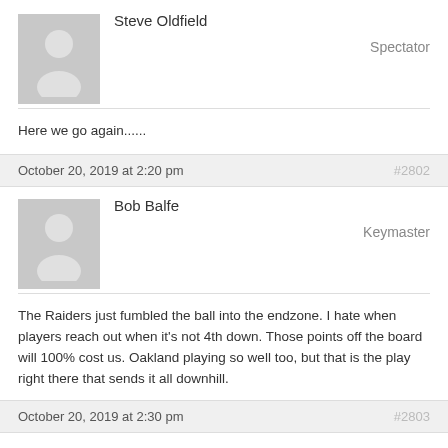Steve Oldfield
Spectator
[Figure (illustration): Default user avatar placeholder with silhouette]
Here we go again......
October 20, 2019 at 2:20 pm   #2802
Bob Balfe
Keymaster
[Figure (illustration): Default user avatar placeholder with silhouette]
The Raiders just fumbled the ball into the endzone. I hate when players reach out when it’s not 4th down. Those points off the board will 100% cost us. Oakland playing so well too, but that is the play right there that sends it all downhill.
October 20, 2019 at 2:30 pm   #2803